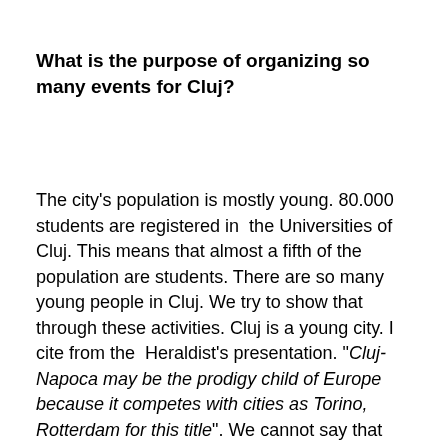What is the purpose of organizing so many events for Cluj?
The city's population is mostly young. 80.000 students are registered in the Universities of Cluj. This means that almost a fifth of the population are students. There are so many young people in Cluj. We try to show that through these activities. Cluj is a young city. I cite from the Heraldist's presentation. "Cluj-Napoca may be the prodigy child of Europe because it competes with cities as Torino, Rotterdam for this title". We cannot say that the